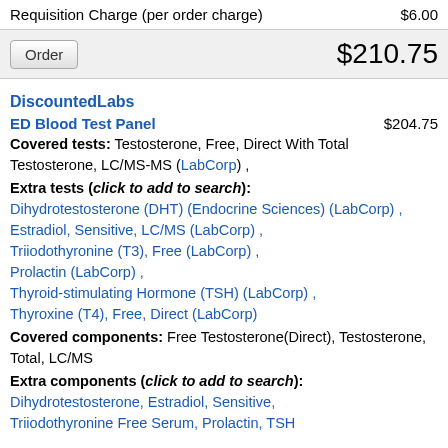Requisition Charge (per order charge)    $6.00
Order    $210.75
DiscountedLabs
ED Blood Test Panel    $204.75
Covered tests: Testosterone, Free, Direct With Total Testosterone, LC/MS-MS (LabCorp) ,
Extra tests (click to add to search): Dihydrotestosterone (DHT) (Endocrine Sciences) (LabCorp) , Estradiol, Sensitive, LC/MS (LabCorp) , Triiodothyronine (T3), Free (LabCorp) , Prolactin (LabCorp) , Thyroid-stimulating Hormone (TSH) (LabCorp) , Thyroxine (T4), Free, Direct (LabCorp)
Covered components: Free Testosterone(Direct), Testosterone, Total, LC/MS
Extra components (click to add to search): Dihydrotestosterone, Estradiol, Sensitive, Triiodothyronine Free Serum, Prolactin, TSH